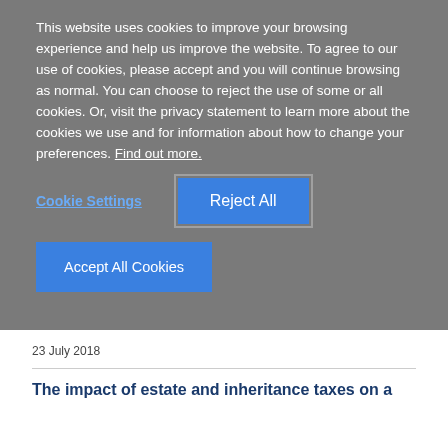This website uses cookies to improve your browsing experience and help us improve the website. To agree to our use of cookies, please accept and you will continue browsing as normal. You can choose to reject the use of some or all cookies. Or, visit the privacy statement to learn more about the cookies we use and for information about how to change your preferences. Find out more.
Cookie Settings
Reject All
Accept All Cookies
23 July 2018
The impact of estate and inheritance taxes on a